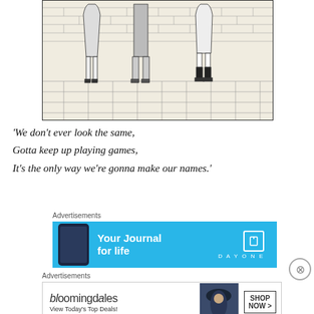[Figure (illustration): Black and white line drawing showing the lower bodies of four figures standing on a tiled floor against a brick wall background. The figures show varied clothing: a skirt on the leftmost, trousers in the middle, and a skirt/dress with knee-high socks on the right.]
‘We don’t ever look the same,
Gotta keep up playing games,
It’s the only way we’re gonna make our names.’
[Figure (infographic): Advertisement banner for DayOne app: blue background with phone mockup on left, text 'Your Journal for life' in white, DayOne logo icon and branding on right.]
[Figure (infographic): Advertisement banner for Bloomingdales: white background with bloomingdales logo and 'View Today's Top Deals!' text on left, fashion model photo in center, 'SHOP NOW >' button box on right.]